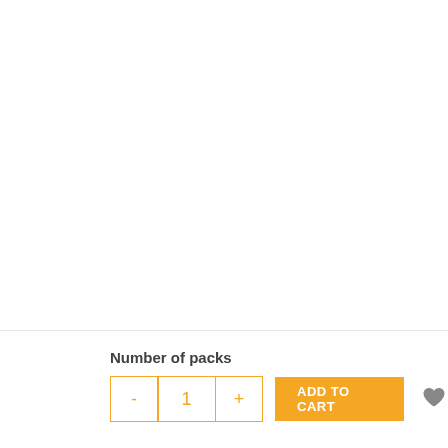Number of packs
[Figure (screenshot): E-commerce quantity selector with minus button, quantity value '1', plus button, an orange 'ADD TO CART' button, and a gray heart/wishlist icon.]